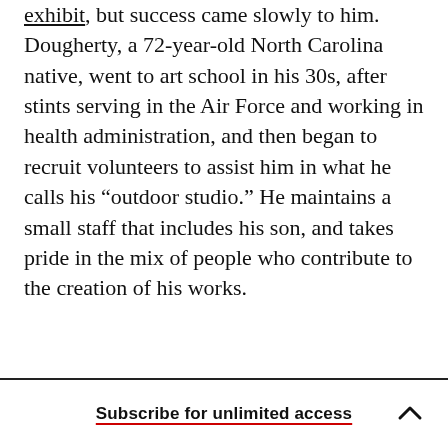exhibit, but success came slowly to him. Dougherty, a 72-year-old North Carolina native, went to art school in his 30s, after stints serving in the Air Force and working in health administration, and then began to recruit volunteers to assist him in what he calls his “outdoor studio.” He maintains a small staff that includes his son, and takes pride in the mix of people who contribute to the creation of his works.
Subscribe for unlimited access